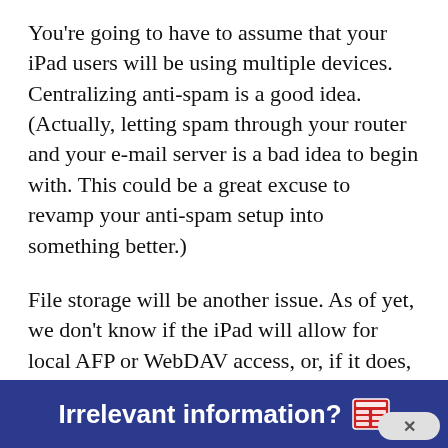You're going to have to assume that your iPad users will be using multiple devices. Centralizing anti-spam is a good idea. (Actually, letting spam through your router and your e-mail server is a bad idea to begin with. This could be a great excuse to revamp your anti-spam setup into something better.)
File storage will be another issue. As of yet, we don't know if the iPad will allow for local AFP or WebDAV access, or, if it does, what authentication mechanisms will be supported. (Kerberos would obviously be the preferred option, and the iPad has the horsepower to support it.) Options include iDisk, iWork.com for iWork files, and a Dropbox client, but those aren't great
Irrelevant information?